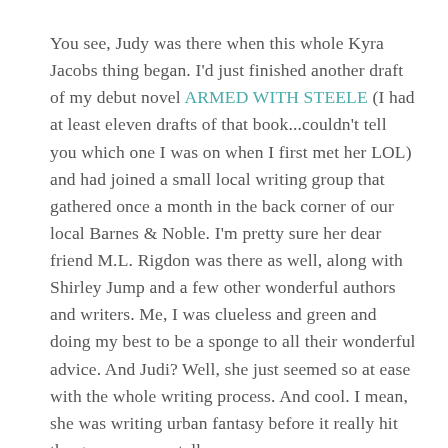You see, Judy was there when this whole Kyra Jacobs thing began. I'd just finished another draft of my debut novel ARMED WITH STEELE (I had at least eleven drafts of that book...couldn't tell you which one I was on when I first met her LOL) and had joined a small local writing group that gathered once a month in the back corner of our local Barnes & Noble. I'm pretty sure her dear friend M.L. Rigdon was there as well, along with Shirley Jump and a few other wonderful authors and writers. Me, I was clueless and green and doing my best to be a sponge to all their wonderful advice. And Judi? Well, she just seemed so at ease with the whole writing process. And cool. I mean, she was writing urban fantasy before it really hit the genre scene—talk